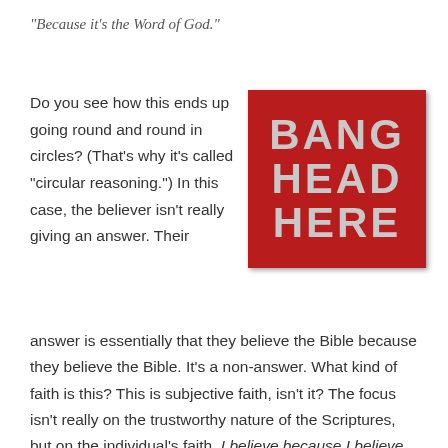"Because it's the Word of God."
Do you see how this ends up going round and round in circles? (That's why it's called "circular reasoning.") In this case, the believer isn't really giving an answer. Their
[Figure (illustration): Red square sign with text 'BANG HEAD HERE' in large gray distressed letters on a red fabric/burlap background]
answer is essentially that they believe the Bible because they believe the Bible. It's a non-answer. What kind of faith is this? This is subjective faith, isn't it? The focus isn't really on the trustworthy nature of the Scriptures, but on the individual's faith. I believe because I believe. Is